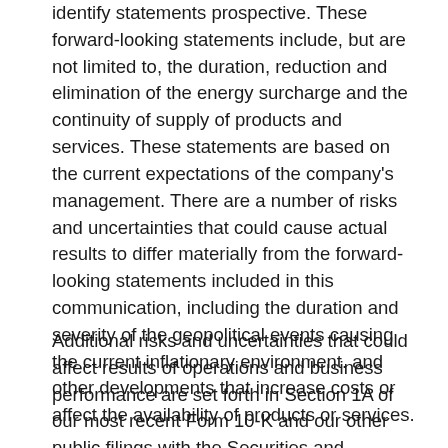identify statements prospective. These forward-looking statements include, but are not limited to, the duration, reduction and elimination of the energy surcharge and the continuity of supply of products and services. These statements are based on the current expectations of the company's management. There are a number of risks and uncertainties that could cause actual results to differ materially from the forward-looking statements included in this communication, including the duration and severity of the geopolitical events causing the current inflationary environment. and other developments that increase costs or affect the availability of products or services.
Additional risks and uncertainties that could affect results of operations and business performance are set forth in Section 1A of our most recent Form 10-K and our other public filings with the Securities and Exchange Commission (the “SEC”), and include the effects and duration of the COVID-19 pandemic; raw material supply difficulties or raw